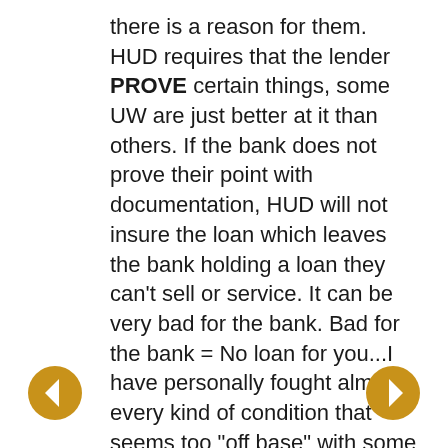there is a reason for them. HUD requires that the lender PROVE certain things, some UW are just better at it than others. If the bank does not prove their point with documentation, HUD will not insure the loan which leaves the bank holding a loan they can't sell or service. It can be very bad for the bank. Bad for the bank = No loan for you...I have personally fought almost every kind of condition that seems too "off base" with some success. The letter of explanation is required by HUD whenever the UW recognizes a pattern that could possibly indicate impending
[Figure (other): Left navigation arrow button (gold/amber circle with white left-pointing arrow)]
[Figure (other): Right navigation arrow button (gold/amber circle with white right-pointing arrow)]